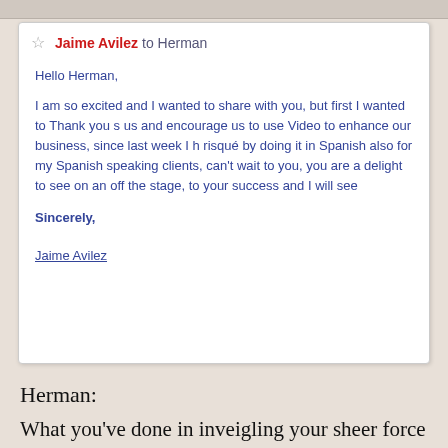[Figure (screenshot): Screenshot of an email from Jaime Avilez to Herman, with a star icon, sender name in red, body text in blue, signed Sincerely, Jaime Avilez]
Herman:
What you've done in inveigling your sheer force of personality into the real estate world is amazing. This can only lead to global domination of real estate conciousness. People from Bombay to Singapore to villas perched above the Cote d"Azure will soon all be happily taking their real